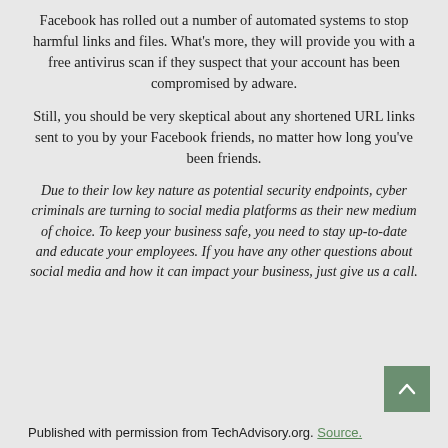Facebook has rolled out a number of automated systems to stop harmful links and files. What's more, they will provide you with a free antivirus scan if they suspect that your account has been compromised by adware.
Still, you should be very skeptical about any shortened URL links sent to you by your Facebook friends, no matter how long you've been friends.
Due to their low key nature as potential security endpoints, cyber criminals are turning to social media platforms as their new medium of choice. To keep your business safe, you need to stay up-to-date and educate your employees. If you have any other questions about social media and how it can impact your business, just give us a call.
Published with permission from TechAdvisory.org. Source.